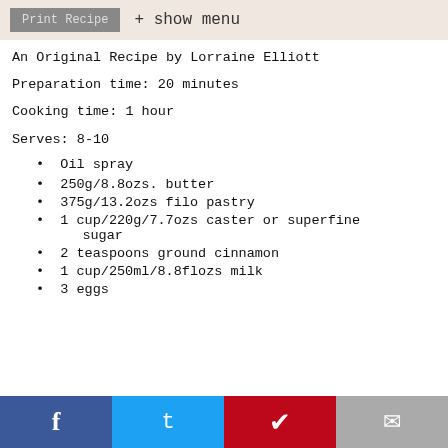Print Recipe  + show menu
An Original Recipe by Lorraine Elliott
Preparation time: 20 minutes
Cooking time: 1 hour
Serves: 8-10
Oil spray
250g/8.8ozs. butter
375g/13.2ozs filo pastry
1 cup/220g/7.7ozs caster or superfine sugar
2 teaspoons ground cinnamon
1 cup/250ml/8.8flozs milk
3 eggs
f  t  ®  ✉